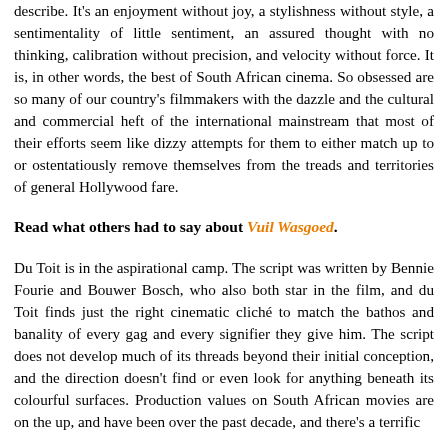describe. It's an enjoyment without joy, a stylishness without style, a sentimentality of little sentiment, an assured thought with no thinking, calibration without precision, and velocity without force. It is, in other words, the best of South African cinema. So obsessed are so many of our country's filmmakers with the dazzle and the cultural and commercial heft of the international mainstream that most of their efforts seem like dizzy attempts for them to either match up to or ostentatiously remove themselves from the treads and territories of general Hollywood fare.
Read what others had to say about Vuil Wasgoed.
Du Toit is in the aspirational camp. The script was written by Bennie Fourie and Bouwer Bosch, who also both star in the film, and du Toit finds just the right cinematic cliché to match the bathos and banality of every gag and every signifier they give him. The script does not develop much of its threads beyond their initial conception, and the direction doesn't find or even look for anything beneath its colourful surfaces. Production values on South African movies are on the up, and have been over the past decade, and there's a terrific